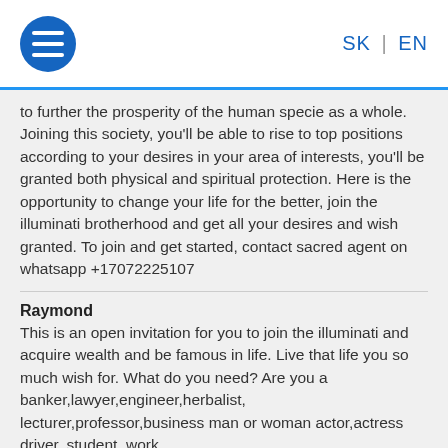SK | EN
to further the prosperity of the human specie as a whole. Joining this society, you'll be able to rise to top positions according to your desires in your area of interests, you'll be granted both physical and spiritual protection. Here is the opportunity to change your life for the better, join the illuminati brotherhood and get all your desires and wish granted. To join and get started, contact sacred agent on whatsapp +17072225107
Raymond
This is an open invitation for you to join the illuminati and acquire wealth and be famous in life. Live that life you so much wish for. What do you need? Are you a banker,lawyer,engineer,herbalist, lecturer,professor,business man or woman actor,actress driver, student, work